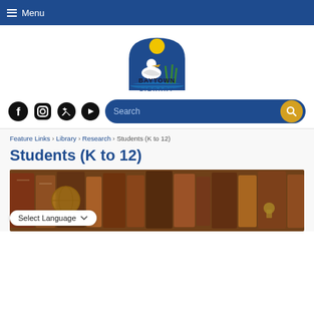Menu
[Figure (logo): Baytown Library logo with pelican bird, sun, and water, with text BAYTOWN LIBRARY]
[Figure (infographic): Social media icons: Facebook, Instagram, Twitter, YouTube; and a search bar with magnifying glass button]
Feature Links › Library › Research › Students (K to 12)
Students (K to 12)
[Figure (photo): Photo of old books, globes and antique items on a desk]
Select Language